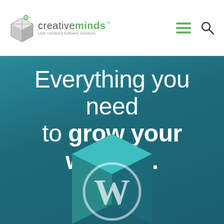[Figure (logo): CreativeMinds logo with cube icon and tagline 'User Centered Software Solutions']
Everything you need to grow your website.
[Figure (illustration): 3D WordPress logo cube box in teal/mint colors on dark teal background]